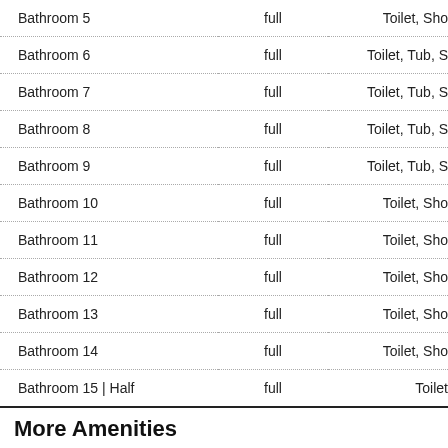| Bathroom | Type | Amenities |
| --- | --- | --- |
| Bathroom 5 | full | Toilet, Sho… |
| Bathroom 6 | full | Toilet, Tub, S… |
| Bathroom 7 | full | Toilet, Tub, S… |
| Bathroom 8 | full | Toilet, Tub, S… |
| Bathroom 9 | full | Toilet, Tub, S… |
| Bathroom 10 | full | Toilet, Sho… |
| Bathroom 11 | full | Toilet, Sho… |
| Bathroom 12 | full | Toilet, Sho… |
| Bathroom 13 | full | Toilet, Sho… |
| Bathroom 14 | full | Toilet, Sho… |
| Bathroom 15 | Half | full | Toilet… |
More Amenities